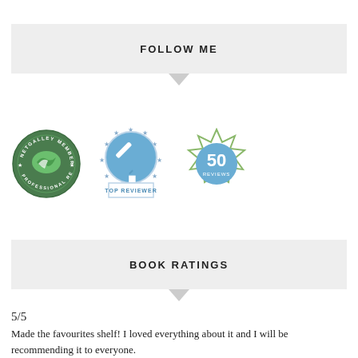FOLLOW ME
[Figure (logo): Three badges: NetGalley Member Professional Reader badge (green circular), Top Reviewer badge (blue circular with stars), and 50 Reviews badge (green geometric star outline with blue center)]
BOOK RATINGS
5/5
Made the favourites shelf! I loved everything about it and I will be recommending it to everyone.